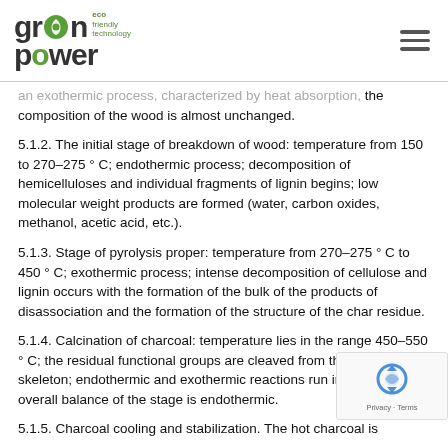GreenPower - eco friendly technology
an exothermic process, characterized by heat absorption, the composition of the wood is almost unchanged.
5.1.2. The initial stage of breakdown of wood: temperature from 150 to 270–275 ° C; endothermic process; decomposition of hemicelluloses and individual fragments of lignin begins; low molecular weight products are formed (water, carbon oxides, methanol, acetic acid, etc.).
5.1.3. Stage of pyrolysis proper: temperature from 270–275 ° C to 450 ° C; exothermic process; intense decomposition of cellulose and lignin occurs with the formation of the bulk of the products of disassociation and the formation of the structure of the char residue.
5.1.4. Calcination of charcoal: temperature lies in the range 450–550 ° C; the residual functional groups are cleaved from the carbon skeleton; endothermic and exothermic reactions run in parallel; overall balance of the stage is endothermic.
5.1.5. Charcoal cooling and stabilization. The hot charcoal is